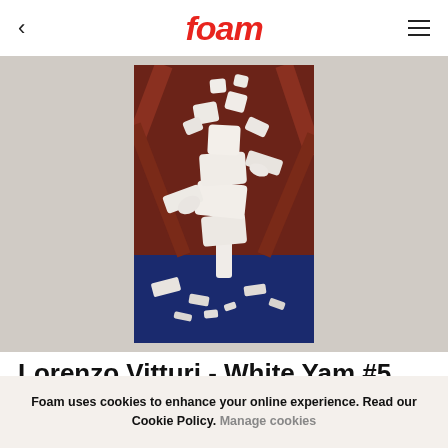foam
[Figure (photo): Photograph of a white foam/plaster sculpture resembling fragmented bird or figure forms stacked vertically, against a dark red and blue background. Pieces of white material are scattered on the blue surface below.]
Lorenzo Vitturi - White Yam #5, 2013
Foam uses cookies to enhance your online experience. Read our Cookie Policy. Manage cookies